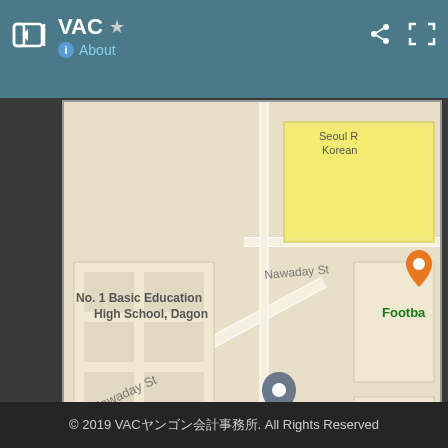VAC ☆ About
[Figure (screenshot): Google My Maps screenshot showing area around La Pyi Wun Plaza in Yangon (Rangoon), Myanmar. Visible landmarks: No. 1 Basic Education High School Dagon, Nawaday St, La Pyi Wun Plaza (with pin), PARKROYAL Yangon, Babett Eatery & Bar Yangon Mediterranean, Shine Offi[ce], Korean restaurant, Football [ground]. Map includes zoom controls (+/-), Google My Maps branding, scale bar showing 200 ft, and Terms link.]
© 2019 VACヤンゴン会計事務所. All Rights Reserved